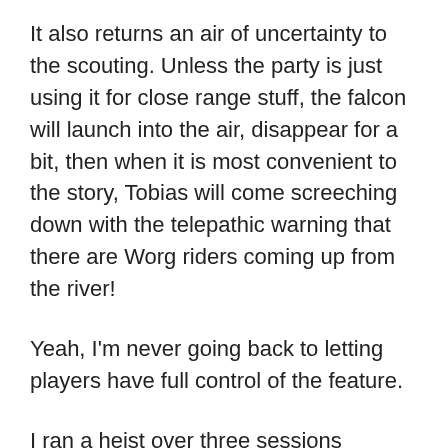It also returns an air of uncertainty to the scouting. Unless the party is just using it for close range stuff, the falcon will launch into the air, disappear for a bit, then when it is most convenient to the story, Tobias will come screeching down with the telepathic warning that there are Worg riders coming up from the river!
Yeah, I'm never going back to letting players have full control of the feature.
I ran a heist over three sessions recently. As much as I had seen advice on flashbacks and have run some GUMSHOE, I decided to not use those mechanics. Instead, I decided to saturate the players with information. I gave them SO much information, designed the heist with so many hooks for them to turn to their advantage, and used AngryGM's Tension pool to make the few failed rolls they make matter. It worked really well. I think the biggest problem with heists is that